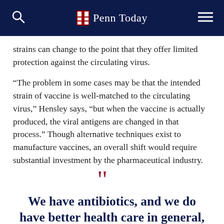Penn Today
strains can change to the point that they offer limited protection against the circulating virus.
“The problem in some cases may be that the intended strain of vaccine is well-matched to the circulating virus,” Hensley says, “but when the vaccine is actually produced, the viral antigens are changed in that process.” Though alternative techniques exist to manufacture vaccines, an overall shift would require substantial investment by the pharmaceutical industry.
We have antibiotics, and we do have better health care in general, but even this